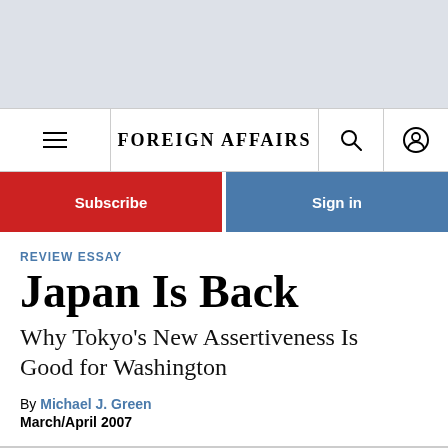FOREIGN AFFAIRS
REVIEW ESSAY
Japan Is Back
Why Tokyo's New Assertiveness Is Good for Washington
By Michael J. Green
March/April 2007